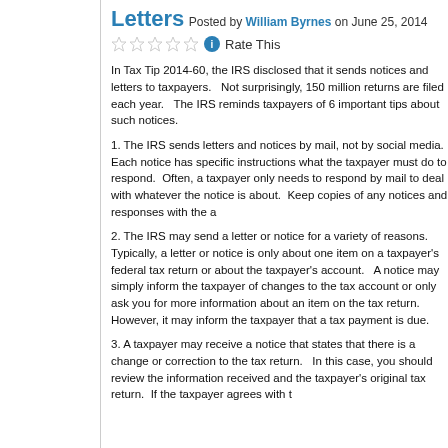Letters
Posted by William Byrnes on June 25, 2014
Rate This
In Tax Tip 2014-60, the IRS disclosed that it sends notices and letters to taxpayers.   Not surprisingly, 150 million returns are filed each year.   The IRS reminds taxpayers of 6 important tips about such notices.
1. The IRS sends letters and notices by mail, not by social media.  Each notice has specific instructions what the taxpayer must do to respond.  Often, a taxpayer only needs to respond by mail to deal with whatever the notice is about.  Keep copies of any notices and responses with the a...
2. The IRS may send a letter or notice for a variety of reasons.  Typically, a letter or notice is only about one item on a taxpayer's federal tax return or about the taxpayer's account.   A notice may simply inform the taxpayer of changes to the tax account or only ask you for more information about an item on the tax return.  However, it may inform a taxpayer that a tax payment is due.
3. A taxpayer may receive a notice that states that there is a change or correction to the tax return.  In this case, you should review the information received and the taxpayer's original tax return.  If the taxpayer agrees with t...